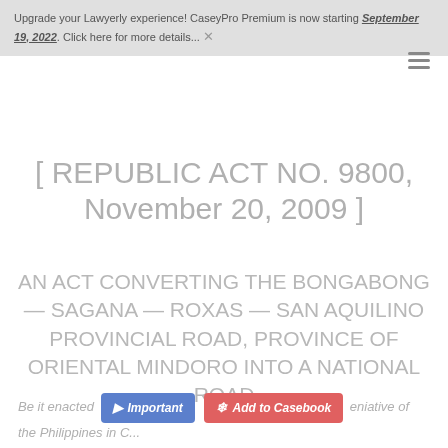Upgrade your Lawyerly experience! CaseyPro Premium is now starting September 19, 2022. Click here for more details... ✕
[ REPUBLIC ACT NO. 9800, November 20, 2009 ]
AN ACT CONVERTING THE BONGABONG — SAGANA — ROXAS — SAN AQUILINO PROVINCIAL ROAD, PROVINCE OF ORIENTAL MINDORO INTO A NATIONAL ROAD
Be it enacted ... eniative of the Philippines in C...